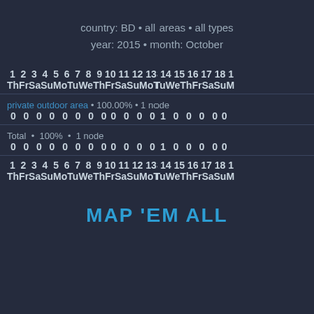country: BD • all areas • all types
year: 2015 • month: October
| 1 | 2 | 3 | 4 | 5 | 6 | 7 | 8 | 9 | 10 | 11 | 12 | 13 | 14 | 15 | 16 | 17 | 18 |
| --- | --- | --- | --- | --- | --- | --- | --- | --- | --- | --- | --- | --- | --- | --- | --- | --- | --- |
| Th | Fr | Sa | Su | Mo | Tu | We | Th | Fr | Sa | Su | Mo | Tu | We | Th | Fr | Sa | Su |
| private outdoor area • 100.00% • 1 node |  |  |  |  |  |  |  |  |  |  |  |  |  |  |  |  |  |
| 0 | 0 | 0 | 0 | 0 | 0 | 0 | 0 | 0 | 0 | 0 | 0 | 1 | 0 | 0 | 0 | 0 | 0 |
| Total • 100% • 1 node |  |  |  |  |  |  |  |  |  |  |  |  |  |  |  |  |  |
| 0 | 0 | 0 | 0 | 0 | 0 | 0 | 0 | 0 | 0 | 0 | 0 | 1 | 0 | 0 | 0 | 0 | 0 |
| Th | Fr | Sa | Su | Mo | Tu | We | Th | Fr | Sa | Su | Mo | Tu | We | Th | Fr | Sa | Su |
MAP 'EM ALL